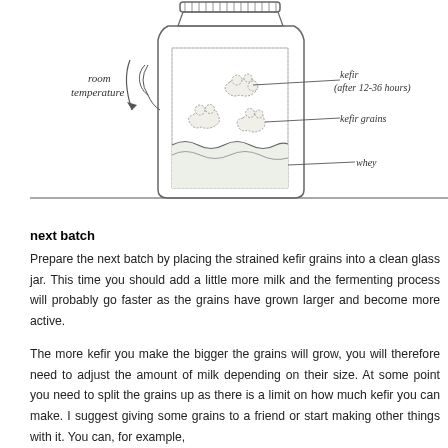[Figure (illustration): Hand-drawn illustration of a glass jar with a lid, containing kefir grains (cauliflower-like lumps), whey (liquid at the bottom with wavy surface), and kefir (cloudy layer above). Labels with arrows point to: 'kefir (after 12-36 hours)', 'kefir grains', and 'whey'. To the left, a curved arrow indicates 'room temperature'.]
next batch
Prepare the next batch by placing the strained kefir grains into a clean glass jar. This time you should add a little more milk and the fermenting process will probably go faster as the grains have grown larger and become more active.
The more kefir you make the bigger the grains will grow, you will therefore need to adjust the amount of milk depending on their size. At some point you need to split the grains up as there is a limit on how much kefir you can make. I suggest giving some grains to a friend or start making other things with it. You can, for example,